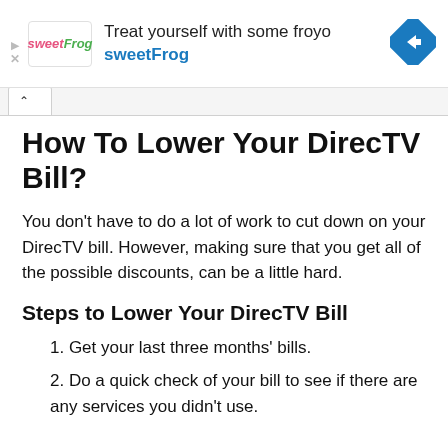[Figure (other): sweetFrog advertisement banner: logo on left, 'Treat yourself with some froyo' headline, 'sweetFrog' subtext in blue, blue diamond navigation arrow icon on right]
How To Lower Your DirecTV Bill?
You don't have to do a lot of work to cut down on your DirecTV bill. However, making sure that you get all of the possible discounts, can be a little hard.
Steps to Lower Your DirecTV Bill
1. Get your last three months' bills.
2. Do a quick check of your bill to see if there are any services you didn't use.